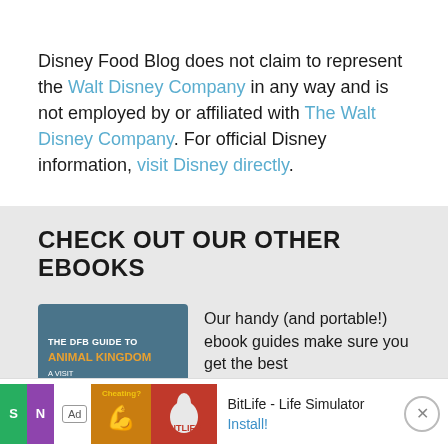Disney Food Blog does not claim to represent the Walt Disney Company in any way and is not employed by or affiliated with The Walt Disney Company. For official Disney information, visit Disney directly.
CHECK OUT OUR OTHER EBOOKS
[Figure (illustration): Book cover: THE DFB GUIDE TO ANIMAL KINGDOM with orange title text on dark teal background]
Our handy (and portable!) ebook guides make sure you get the best
[Figure (screenshot): Advertisement bar: BitLife - Life Simulator app ad with red background icons, Ad tag, and Install button]